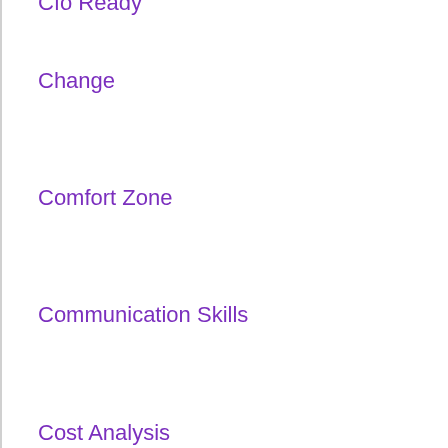Cfo Ready
Change
Comfort Zone
Communication Skills
Cost Analysis
Cost Control
Cost Cutting
Culture
Dashboard
Epm